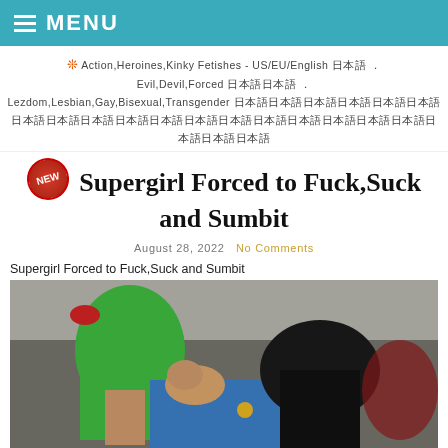MENU
❊ Action,Heroines,Kinky Fetishes - US/EU/English 日本語 . Evil,Devil,Forced 日本語日本語 . Lezdom,Lesbian,Gay,Bisexual,Transgender 日本語日本語日本語日本語日本語日本語日本語日本語日本語日本語
Supergirl Forced to Fuck,Suck and Sumbit
August 28, 2022   No Comments
Supergirl Forced to Fuck,Suck and Sumbit
[Figure (photo): Scene with people in costume, one wearing green shirt and blue outfit]